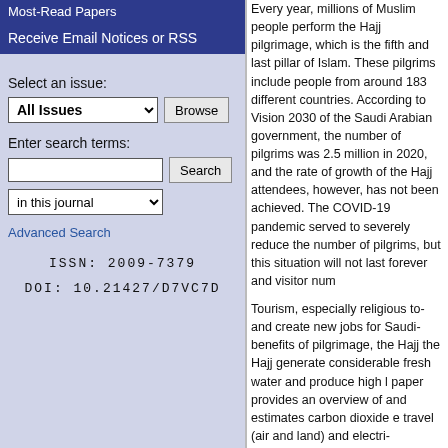Most-Read Papers
Receive Email Notices or RSS
Select an issue:
All Issues  Browse
Enter search terms:
Search  in this journal
Advanced Search
ISSN: 2009-7379
DOI: 10.21427/D7VC7D
Every year, millions of Muslim... which is the fifth and last pillar... people from around 183 different... 2030 of the Saudi Arabian government... 2.5 million in 2020, and the rate... however, has not been achieved... to severely reduce the number... not last forever and visitor numbers...
Tourism, especially religious to... and create new jobs for Saudi... benefits of pilgrimage, the Hajj... the Hajj generate considerable... fresh water and produce high l... paper provides an overview of... and estimates carbon dioxide e... travel (air and land) and electri... desalination), using a range of... different Hajj activities. These f... significant, highlighting the nee...
Creative Commons License
[Figure (logo): Creative Commons BY NC SA license badge]
This work is licensed under a Creative Commons Attribution-NonCommercial-ShareAlike 4.0 License.